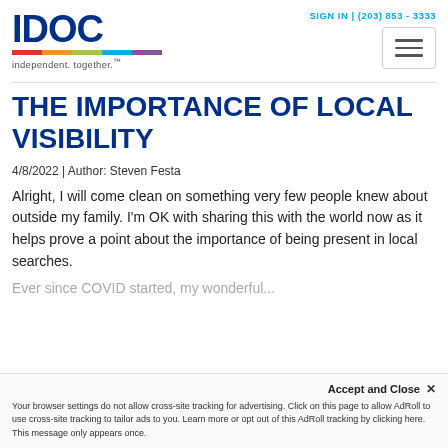[Figure (logo): IDOC logo with colorful bar and tagline 'independent. together.']
SIGN IN | (203) 853 - 3333
THE IMPORTANCE OF LOCAL VISIBILITY
4/8/2022 | Author: Steven Festa
Alright, I will come clean on something very few people knew about outside my family. I'm OK with sharing this with the world now as it helps prove a point about the importance of being present in local searches.
Ever since COVID started, my wonderful...
Accept and Close ×
Your browser settings do not allow cross-site tracking for advertising. Click on this page to allow AdRoll to use cross-site tracking to tailor ads to you. Learn more or opt out of this AdRoll tracking by clicking here. This message only appears once.